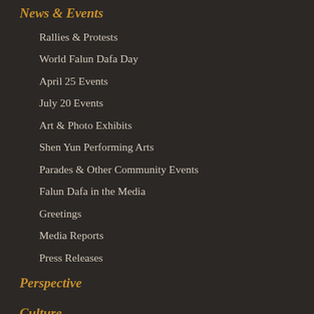News & Events
Rallies & Protests
World Falun Dafa Day
April 25 Events
July 20 Events
Art & Photo Exhibits
Shen Yun Performing Arts
Parades & Other Community Events
Falun Dafa in the Media
Greetings
Media Reports
Press Releases
Perspective
Culture